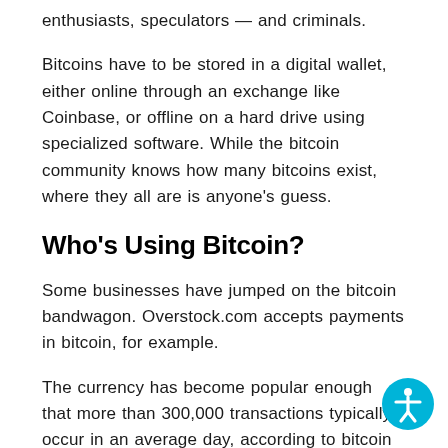enthusiasts, speculators — and criminals.
Bitcoins have to be stored in a digital wallet, either online through an exchange like Coinbase, or offline on a hard drive using specialized software. While the bitcoin community knows how many bitcoins exist, where they all are is anyone's guess.
Who's Using Bitcoin?
Some businesses have jumped on the bitcoin bandwagon. Overstock.com accepts payments in bitcoin, for example.
The currency has become popular enough that more than 300,000 transactions typically occur in an average day, according to bitcoin wallet site blockchain.info. Still, its popularity is low compared with cash and credit cards and most individuals and businesses won't accept bitcoin payments.